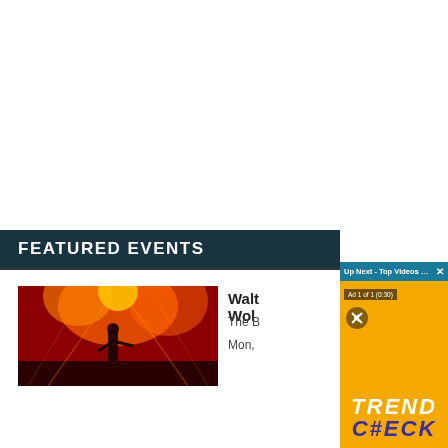FEATURED EVENTS
[Figure (photo): Concert photo with red/orange stage lighting and performer silhouetted against bright lights]
Walt Wolf
The B
Mon,
[Figure (screenshot): Video ad popup overlay showing 'Up Next - Top Videos of the Day: - #...' header in teal, Ad 1 of 1 (0:30) label, mute icon, and TREND C#ECK logo on orange/yellow background]